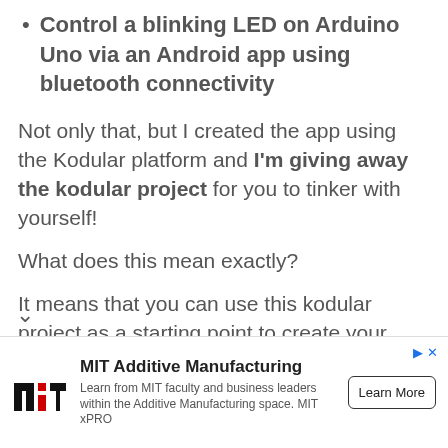Control a blinking LED on Arduino Uno via an Android app using bluetooth connectivity
Not only that, but I created the app using the Kodular platform and I'm giving away the kodular project for you to tinker with yourself!
What does this mean exactly?
It means that you can use this kodular project as a starting point to create your own project as you can modify the code in the app.
[Figure (infographic): MIT Additive Manufacturing advertisement banner with MIT logo, descriptive text, and Learn More button]